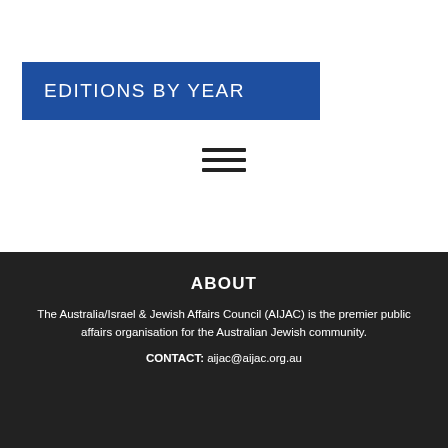EDITIONS BY YEAR
[Figure (other): Hamburger menu icon with three horizontal lines]
ABOUT
The Australia/Israel & Jewish Affairs Council (AIJAC) is the premier public affairs organisation for the Australian Jewish community.
CONTACT: aijac@aijac.org.au